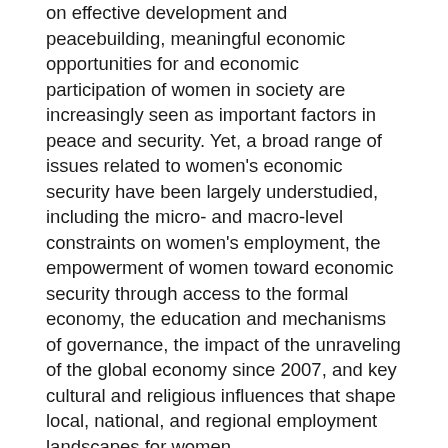on effective development and peacebuilding, meaningful economic opportunities for and economic participation of women in society are increasingly seen as important factors in peace and security. Yet, a broad range of issues related to women's economic security have been largely understudied, including the micro- and macro-level constraints on women's employment, the empowerment of women toward economic security through access to the formal economy, the education and mechanisms of governance, the impact of the unraveling of the global economy since 2007, and key cultural and religious influences that shape local, national, and regional employment landscapes for women.
The Global Women's Work subproject contributed to a fuller understanding of the critical importance of women's economic independence to human and community security by engaging in research, publication, and policy discussions focusing on the work done by women as well as political and cultural mechanisms that often